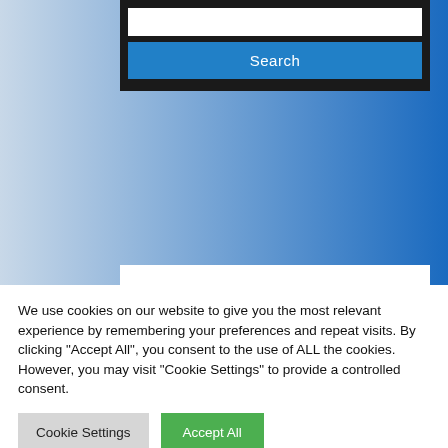[Figure (screenshot): Website UI screenshot showing a search widget with a blue 'Search' button on a blue gradient background, and a partial promotional card with orange background.]
We use cookies on our website to give you the most relevant experience by remembering your preferences and repeat visits. By clicking "Accept All", you consent to the use of ALL the cookies. However, you may visit "Cookie Settings" to provide a controlled consent.
Cookie Settings
Accept All